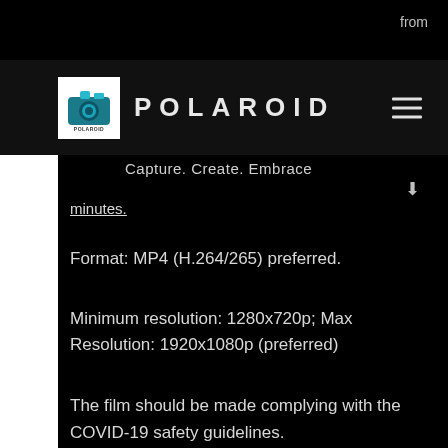from
[Figure (logo): Polaroid logo with camera icon and text POLAROID, tagline Capture. Create. Embrace]
minutes.
Format: MP4 (H.264/265) preferred.
Minimum resolution: 1280x720p; Max Resolution: 1920x1080p (preferred)
The film should be made complying with the COVID-19 safety guidelines.